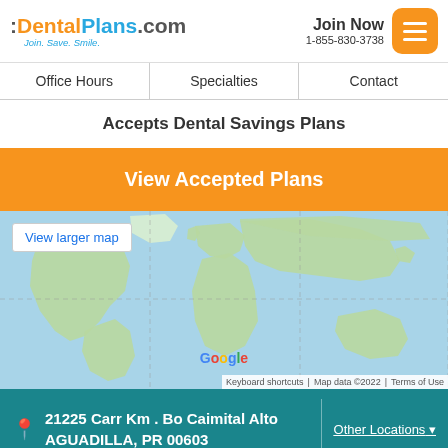[Figure (logo): DentalPlans.com logo with tagline Join. Save. Smile.]
Join Now
1-855-830-3738
[Figure (other): Hamburger menu button (orange rounded square with three white lines)]
Office Hours
Specialties
Contact
Accepts Dental Savings Plans
View Accepted Plans
[Figure (map): Google Maps world map view with 'View larger map' button overlay. Shows world map at low zoom. Footer shows: Keyboard shortcuts | Map data ©2022 | Terms of Use]
21225 Carr Km . Bo Caimital Alto AGUADILLA, PR 00603
Other Locations ▾